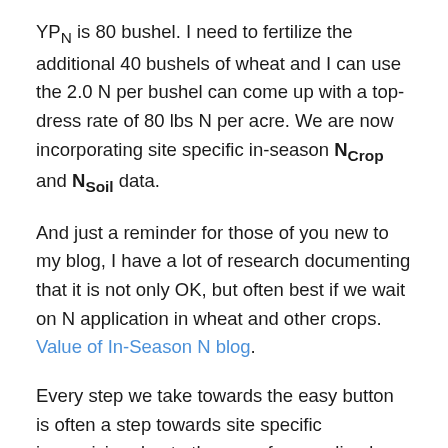YPN is 80 bushel. I need to fertilize the additional 40 bushels of wheat and I can use the 2.0 N per bushel can come up with a top-dress rate of 80 lbs N per acre. We are now incorporating site specific in-season NCrop and NSoil data.
And just a reminder for those of you new to my blog, I have a lot of research documenting that it is not only OK, but often best if we wait on N application in wheat and other crops. Value of In-Season N blog.
Every step we take towards the easy button is often a step towards site specific imprecision due to the use of generalized terms or models. Depending on your goals this very well could be acceptable for your operation, but with nitrogen prices as volatile as they are, should we not be considering pushing the easy button to the side, for